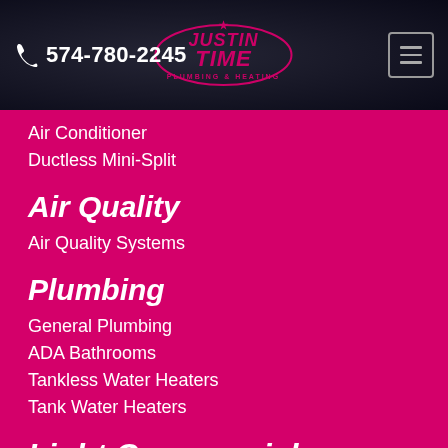574-780-2245 | Justin Time Plumbing & Heating
Air Conditioner
Ductless Mini-Split
Air Quality
Air Quality Systems
Plumbing
General Plumbing
ADA Bathrooms
Tankless Water Heaters
Tank Water Heaters
Light Commercial
Rooftop Units